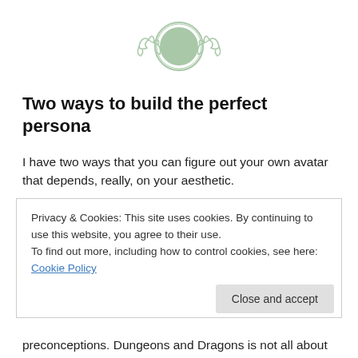[Figure (illustration): Decorative ornamental circular emblem with scroll flourishes on either side, mint/sage green color]
Two ways to build the perfect persona
I have two ways that you can figure out your own avatar that depends, really, on your aesthetic.
1. Use a D&D character sheet
Privacy & Cookies: This site uses cookies. By continuing to use this website, you agree to their use.
To find out more, including how to control cookies, see here: Cookie Policy
preconceptions. Dungeons and Dragons is not all about